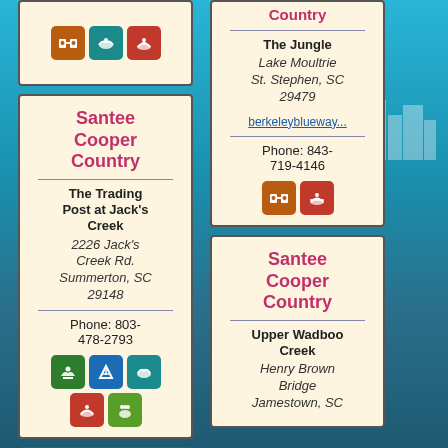[Figure (infographic): Top stub card with binoculars, fish, and kayaking icons (brown, teal, red)]
Santee Cooper Country
The Trading Post at Jack's Creek
2226 Jack's Creek Rd.
Summerton, SC 29148
Phone: 803-478-2793
[Figure (infographic): Icons: green scissors/kayak, blue tent, teal fish, red kayak, lime people group]
[Figure (infographic): Bottom stub card (partial)]
Country (partial title top)
The Jungle
Lake Moultrie
St. Stephen, SC 29479
berkeleyblueway...
Phone: 843-719-4146
[Figure (infographic): Icons: brown binoculars, red kayaking]
Santee Cooper Country
Upper Wadboo Creek
Henry Brown Bridge
Jamestown, SC